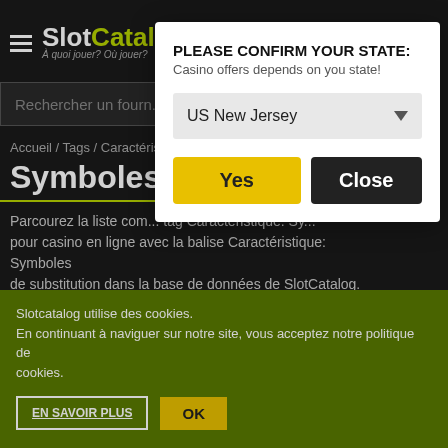[Figure (screenshot): SlotCatalog website header with hamburger menu and logo]
Rechercher un fournisseur...
Accueil / Tags / Caractéristique...
Symboles de s...
Parcourez la liste complète... tag Caractéristique: Symboles... pour casino en ligne avec la balise Caractéristique: Symboles de substitution dans la base de données de SlotCatalog.
display:none tags/ type/ ?cISO= tab-currentFB - : - Max.Exp.: - : - : - function setCQ(){
$('#c_q_0_1').val('');$('#c_q_1_1').val('');
$('#c_q_0_2').val('');$('#c_q_1_2').val(''); return 1; } : -
Slotcatalog utilise des cookies.
En continuant à naviguer sur notre site, vous acceptez notre politique de cookies.
EN SAVOIR PLUS
OK
PLEASE CONFIRM YOUR STATE:
Casino offers depends on you state!
US New Jersey
Yes
Close